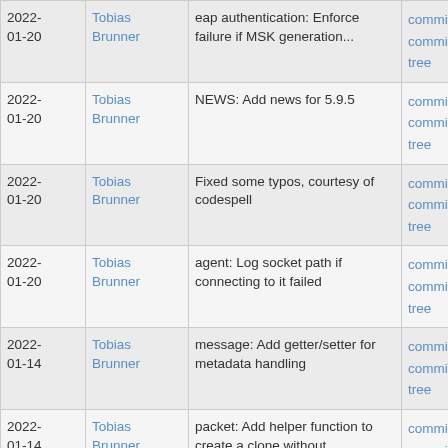| date | author | message | links |
| --- | --- | --- | --- |
| 2022-01-20 | Tobias Brunner | eap authentication: Enforce failure if MSK generation... | commit | commitdiff | tree |
| 2022-01-20 | Tobias Brunner | NEWS: Add news for 5.9.5 | commit | commitdiff | tree |
| 2022-01-20 | Tobias Brunner | Fixed some typos, courtesy of codespell | commit | commitdiff | tree |
| 2022-01-20 | Tobias Brunner | agent: Log socket path if connecting to it failed | commit | commitdiff | tree |
| 2022-01-14 | Tobias Brunner | message: Add getter/setter for metadata handling | commit | commitdiff | tree |
| 2022-01-14 | Tobias Brunner | packet: Add helper function to create a clone without... | commit | commitdiff | tree |
| 2022-01-14 | Tobias Brunner | packet: Add getter/setter for metadata handling | commit | commitdiff | tree |